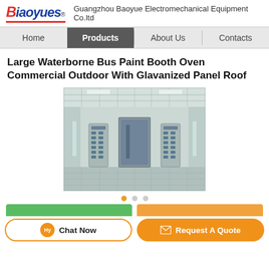Baoyues - Guangzhou Baoyue Electromechanical Equipment Co.ltd
Home | Products | About Us | Contacts
Large Waterborne Bus Paint Booth Oven Commercial Outdoor With Glavanized Panel Roof
[Figure (photo): Interior of a large paint booth oven showing white walls, ceiling with light panels, grid floor, a central door with control panels on either side, and side lighting strips.]
Chat Now | Request A Quote